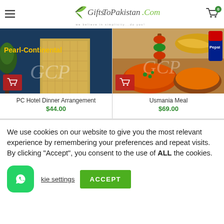GiftsToPakistan.Com — we believe in simplicity...do you!
[Figure (photo): PC Hotel Pearl-Continental building exterior at dusk with cart button overlay]
PC Hotel Dinner Arrangement
$44.00
[Figure (photo): Usmania Meal food spread with various dishes and Pepsi with cart button overlay]
Usmania Meal
$69.00
We use cookies on our website to give you the most relevant experience by remembering your preferences and repeat visits. By clicking “Accept”, you consent to the use of ALL the cookies.
kie settings
ACCEPT